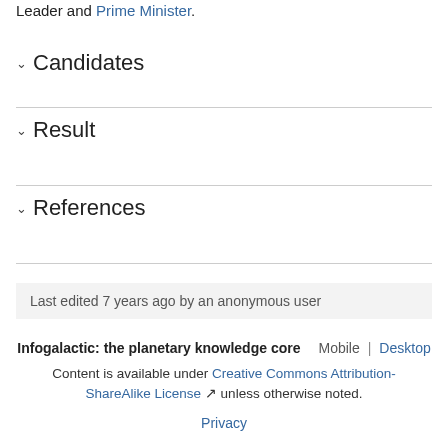Leader and Prime Minister.
Candidates
Result
References
Last edited 7 years ago by an anonymous user
Infogalactic: the planetary knowledge core   Mobile | Desktop
Content is available under Creative Commons Attribution-ShareAlike License unless otherwise noted.
Privacy